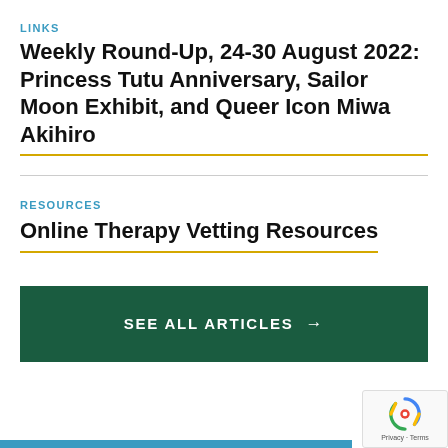LINKS
Weekly Round-Up, 24-30 August 2022: Princess Tutu Anniversary, Sailor Moon Exhibit, and Queer Icon Miwa Akihiro
RESOURCES
Online Therapy Vetting Resources
SEE ALL ARTICLES →